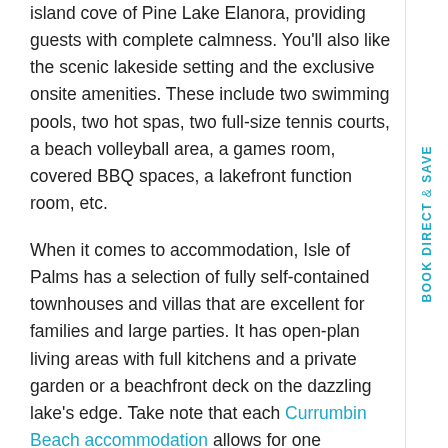island cove of Pine Lake Elanora, providing guests with complete calmness. You'll also like the scenic lakeside setting and the exclusive onsite amenities. These include two swimming pools, two hot spas, two full-size tennis courts, a beach volleyball area, a games room, covered BBQ spaces, a lakefront function room, etc.
When it comes to accommodation, Isle of Palms has a selection of fully self-contained townhouses and villas that are excellent for families and large parties. It has open-plan living areas with full kitchens and a private garden or a beachfront deck on the dazzling lake's edge. Take note that each Currumbin Beach accommodation allows for one additional guest.
You can select from the options below